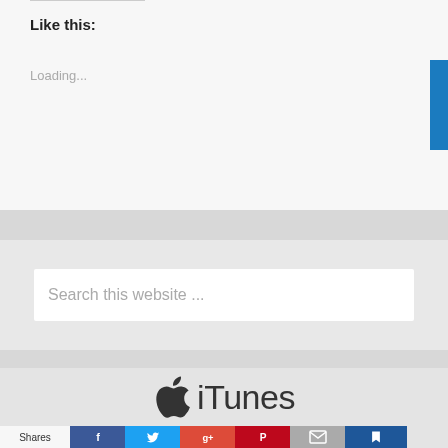Like this:
Loading...
Search this website ...
[Figure (logo): Apple iTunes logo with Apple icon and 'iTunes' text]
Shares